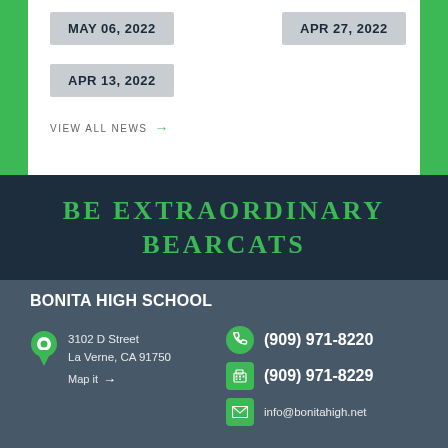MAY 06, 2022
APR 27, 2022
APR 13, 2022
VIEW ALL NEWS →
BE EXTRAORDINARY BEARCATS
BONITA HIGH SCHOOL
3102 D Street
La Verne, CA 91750
Map it →
(909) 971-8220
(909) 971-8229
info@bonitahigh.net